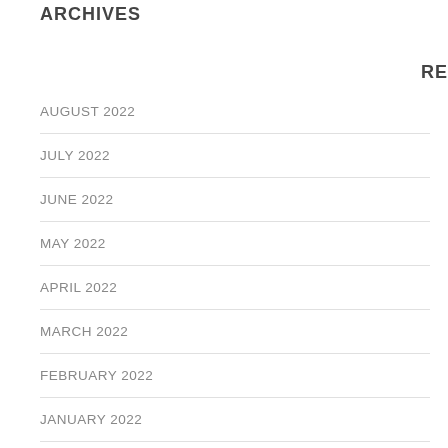ARCHIVES
AUGUST 2022
JULY 2022
JUNE 2022
MAY 2022
APRIL 2022
MARCH 2022
FEBRUARY 2022
JANUARY 2022
DECEMBER 2021